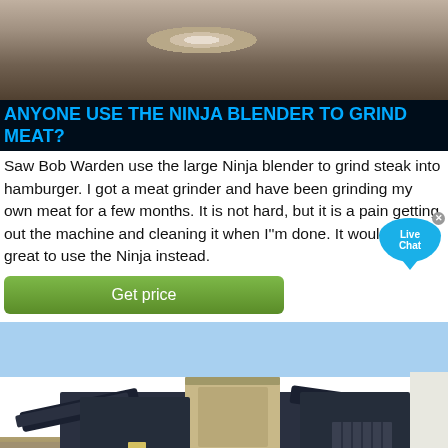[Figure (photo): Top photo showing blender or kitchen appliance, partially visible]
ANYONE USE THE NINJA BLENDER TO GRIND MEAT?
Saw Bob Warden use the large Ninja blender to grind steak into hamburger. I got a meat grinder and have been grinding my own meat for a few months. It is not hard, but it is a pain getting out the machine and cleaning it when I''m done. It would be great to use the Ninja instead.
[Figure (other): Live Chat bubble overlay widget with X close button]
Get price
[Figure (photo): Large mobile industrial crusher/mining machine on wheels, photographed outdoors on a dirt lot with blue sky background]